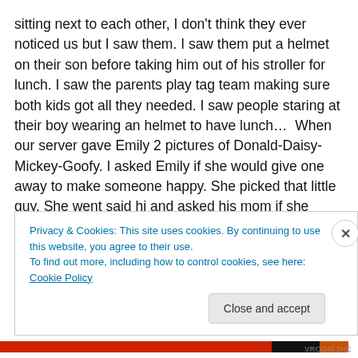sitting next to each other, I don't think they ever noticed us but I saw them. I saw them put a helmet on their son before taking him out of his stroller for lunch. I saw the parents play tag team making sure both kids got all they needed. I saw people staring at their boy wearing an helmet to have lunch…  When our server gave Emily 2 pictures of Donald-Daisy-Mickey-Goofy. I asked Emily if she would give one away to make someone happy. She picked that little guy. She went said hi and asked his mom if she could give him the picture.
Privacy & Cookies: This site uses cookies. By continuing to use this website, you agree to their use.
To find out more, including how to control cookies, see here: Cookie Policy
Close and accept